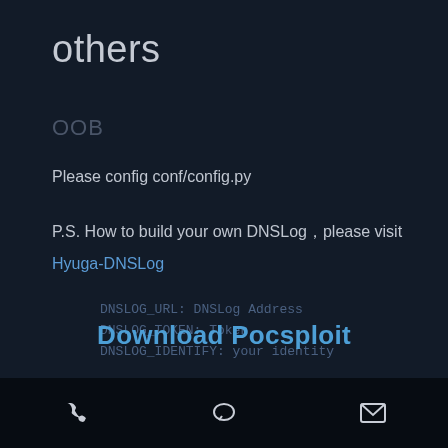others
OOB
Please config conf/config.py
P.S. How to build your own DNSLogÿplease visit
Hyuga-DNSLog
DNSLOG_URL: DNSLog Address
DNSLOG_TOKEN: Token
DNSLOG_IDENTIFY: your identity
Download Pocsploit
phone | chat | mail icons